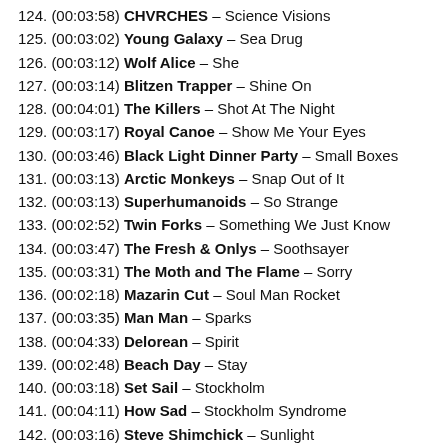124. (00:03:58) CHVRCHES – Science Visions
125. (00:03:02) Young Galaxy – Sea Drug
126. (00:03:12) Wolf Alice – She
127. (00:03:14) Blitzen Trapper – Shine On
128. (00:04:01) The Killers – Shot At The Night
129. (00:03:17) Royal Canoe – Show Me Your Eyes
130. (00:03:46) Black Light Dinner Party – Small Boxes
131. (00:03:13) Arctic Monkeys – Snap Out of It
132. (00:03:13) Superhumanoids – So Strange
133. (00:02:52) Twin Forks – Something We Just Know
134. (00:03:47) The Fresh & Onlys – Soothsayer
135. (00:03:31) The Moth and The Flame – Sorry
136. (00:02:18) Mazarin Cut – Soul Man Rocket
137. (00:03:35) Man Man – Sparks
138. (00:04:33) Delorean – Spirit
139. (00:02:48) Beach Day – Stay
140. (00:03:18) Set Sail – Stockholm
141. (00:04:11) How Sad – Stockholm Syndrome
142. (00:03:16) Steve Shimchick – Sunlight